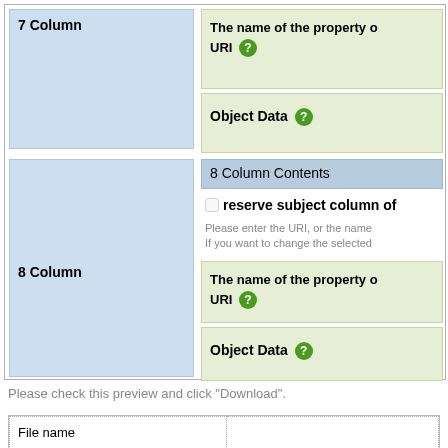7 Column
The name of the property o URI
Object Data
8 Column Contents
reserve subject column of
Please enter the URI, or the name If you want to change the selected
8 Column
The name of the property o URI
Object Data
Please check this preview and click "Download".
| File name |  |
| --- | --- |